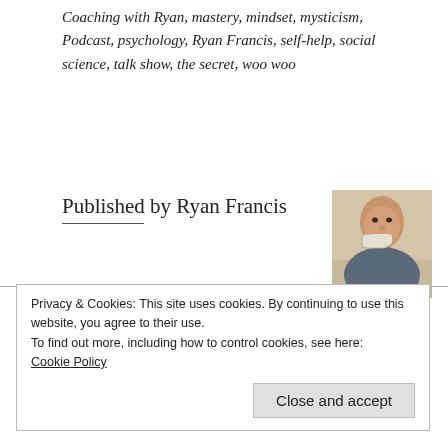Coaching with Ryan, mastery, mindset, mysticism, Podcast, psychology, Ryan Francis, self-help, social science, talk show, the secret, woo woo
Published by Ryan Francis
[Figure (photo): Headshot photo of Ryan Francis, a bald man drinking from a cup]
View all posts by Ryan Francis
Privacy & Cookies: This site uses cookies. By continuing to use this website, you agree to their use.
To find out more, including how to control cookies, see here: Cookie Policy
Close and accept